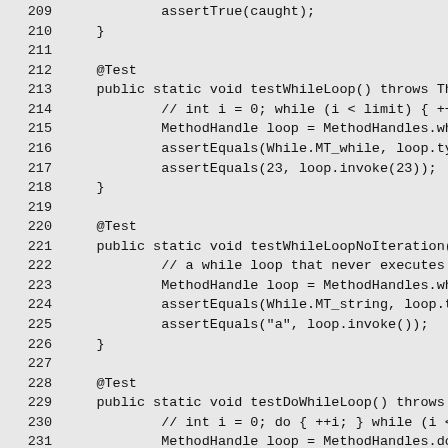Source code listing, lines 209-238, Java unit test methods for while loop and do-while loop constructs.